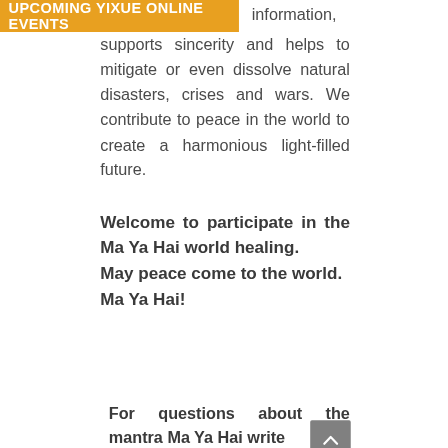UPCOMING YIXUE ONLINE EVENTS
information, supports sincerity and helps to mitigate or even dissolve natural disasters, crises and wars. We contribute to peace in the world to create a harmonious light-filled future.
Welcome to participate in the Ma Ya Hai world healing.
May peace come to the world.
Ma Ya Hai!
For questions about the mantra Ma Ya Hai write